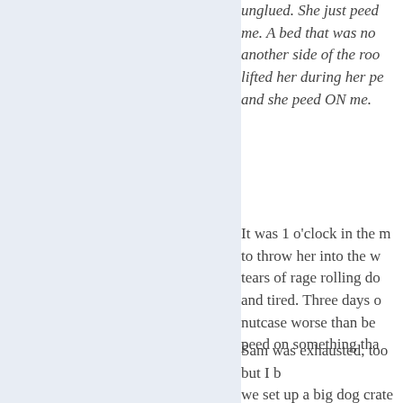unglued. She just peed on me. A bed that was no another side of the roo lifted her during her pe and she peed ON me.
It was 1 o'clock in the to throw her into the w tears of rage rolling do and tired. Three days o nutcase worse than be peed on something tha
Sam was exhausted, too but I b we set up a big dog crate with a She went into the crate easily a wanted to sleep, but I still had t and frustration. This cat was